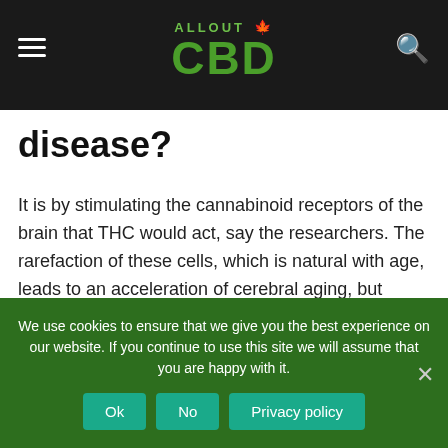ALLOUT CBD
disease?
It is by stimulating the cannabinoid receptors of the brain that THC would act, say the researchers. The rarefaction of these cells, which is natural with age, leads to an acceleration of cerebral aging, but cannabis would mimic cannabinoids, thus ending the process.
Since the human brain has the same characteristics as mice in this field, the work of German and Israeli scientists could
We use cookies to ensure that we give you the best experience on our website. If you continue to use this site we will assume that you are happy with it.